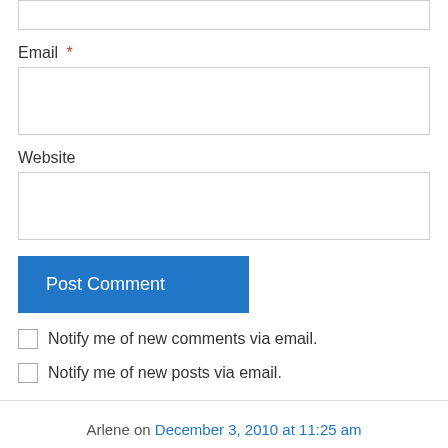Email *
Website
Post Comment
Notify me of new comments via email.
Notify me of new posts via email.
Arlene on December 3, 2010 at 11:25 am